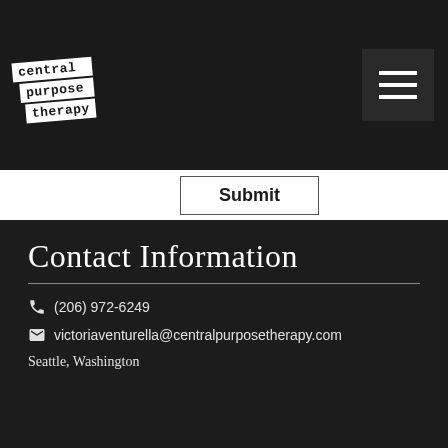[Figure (logo): Central Purpose Therapy logo — three stacked white label strips on dark background reading 'central', 'purpose', 'therapy' in monospace font, slightly rotated]
Submit
Contact Information
(206) 972-6249
victoriaventurella@centralpurposetherapy.com
Seattle, Washington